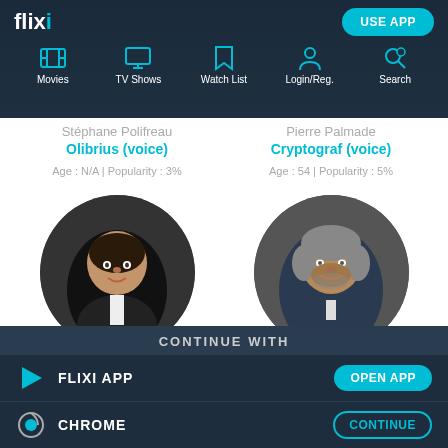flixi — USE APP — Movies, TV Shows, Watch List, Login/Reg., Search
Stéphane Polifreau
Olibrius (voice)
Age : N/A | Popularity : 3%
Pierre Palmade
Cryptograf (voice)
Age : 54 | Popularity : 5%
[Figure (photo): Circular photo of an elderly man smiling in a dark suit]
[Figure (photo): Circular photo of a middle-aged man with grey hair and beard in a blue jacket]
CONTINUE WITH
FLIXI APP — OPEN APP
CHROME — CONTINUE